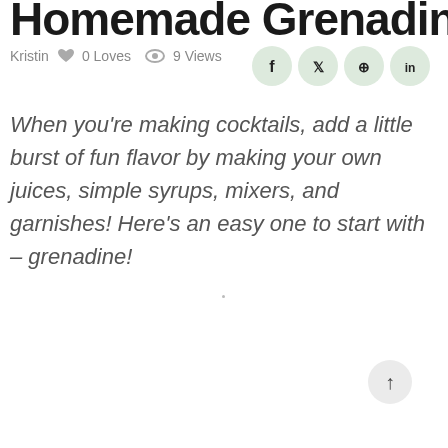Homemade Grenadine
Kristin  ♥  0 Loves   👁  9 Views
When you're making cocktails, add a little burst of fun flavor by making your own juices, simple syrups, mixers, and garnishes! Here's an easy one to start with – grenadine!